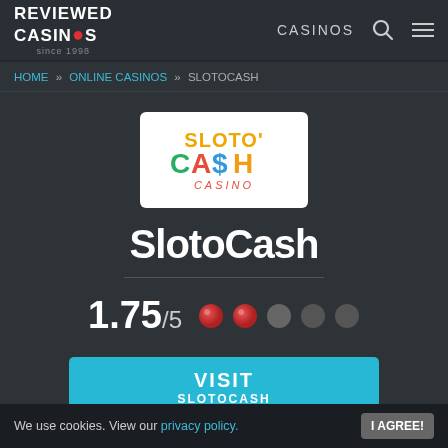REVIEWED CASINOS since 1998 | CASINOS
HOME » ONLINE CASINOS » SLOTOCASH
[Figure (logo): SlotoCash Casino logo on white background]
SlotoCash
1.75/5
VISIT SLOTOCASH
We use cookies. View our privacy policy. I AGREE!